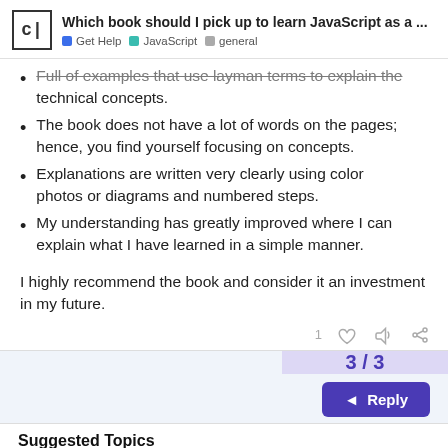Which book should I pick up to learn JavaScript as a ... | Get Help | JavaScript | general
Full of examples that use layman terms to explain the technical concepts.
The book does not have a lot of words on the pages; hence, you find yourself focusing on concepts.
Explanations are written very clearly using color photos or diagrams and numbered steps.
My understanding has greatly improved where I can explain what I have learned in a simple manner.
I highly recommend the book and consider it an investment in my future.
3 / 3
Reply
Suggested Topics